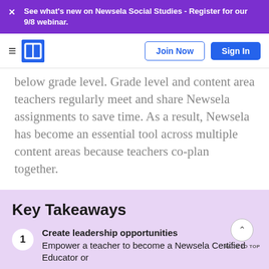See what's new on Newsela Social Studies - Register for our 9/8 webinar.
below grade level. Grade level and content area teachers regularly meet and share Newsela assignments to save time. As a result, Newsela has become an essential tool across multiple content areas because teachers co-plan together.
Key Takeaways
1. Create leadership opportunities — Empower a teacher to become a Newsela Certified Educator or